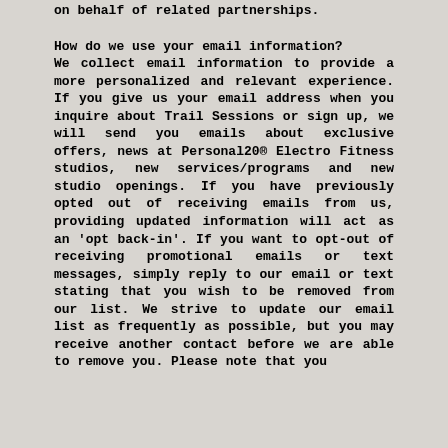on behalf of related partnerships.
How do we use your email information?
We collect email information to provide a more personalized and relevant experience. If you give us your email address when you inquire about Trail Sessions or sign up, we will send you emails about exclusive offers, news at Personal20® Electro Fitness studios, new services/programs and new studio openings. If you have previously opted out of receiving emails from us, providing updated information will act as an 'opt back-in'. If you want to opt-out of receiving promotional emails or text messages, simply reply to our email or text stating that you wish to be removed from our list. We strive to update our email list as frequently as possible, but you may receive another contact before we are able to remove you. Please note that you